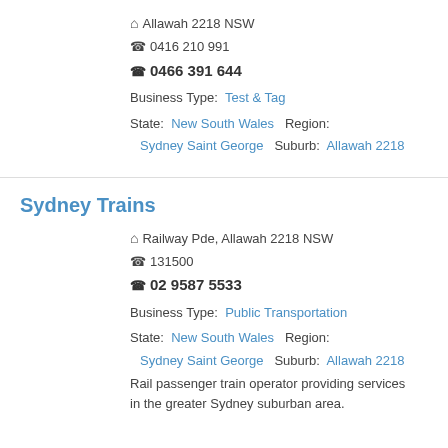Allawah 2218 NSW
0416 210 991
0466 391 644
Business Type: Test & Tag
State: New South Wales  Region:
Sydney Saint George  Suburb: Allawah 2218
Sydney Trains
Railway Pde, Allawah 2218 NSW
131500
02 9587 5533
Business Type: Public Transportation
State: New South Wales  Region:
Sydney Saint George  Suburb: Allawah 2218
Rail passenger train operator providing services in the greater Sydney suburban area.